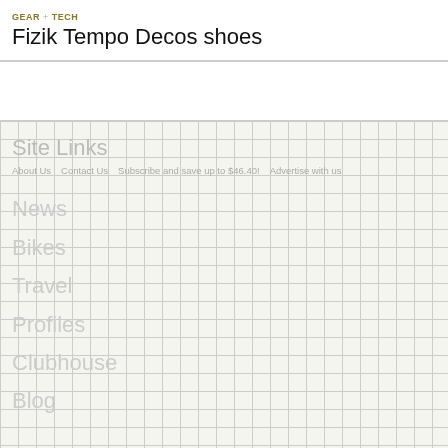GEAR + TECH
Fizik Tempo Decos shoes
Site Links
About Us   Contact Us   Subscribe and save up to $46.40!   Advertise with us
News
Bikes
Travel
Profiles
Clubhouse
Blog